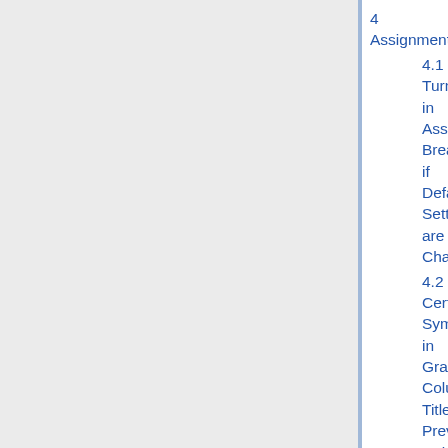4 Assignments
4.1 Turnitin in Assignments Breaks if Default Settings are Changed
4.2 Certain Symbols in Gradebook Column Titles Prevent Column from Being Associated with Assignment
5 Assignment 2 (pilot)
5.1 Can't delete assignments in Assignment 2
5.2 Calendar date selector not working in Assignment 2
6 Content Editor
6.1 Content Editor in Lessons Can't Edit Source Code in IE
6.2 Spell Check Not Available in Content Editor
7 Discussions
7.1 Can't Limit Discussions to Groups if Students Have Viewed Them
7.2 Student View Isn't Accurate when Dates Have Been Set if Student View was Used Prior to Setting Dates
8 Gradebook and/or Gradebook 2
8.1 Adding multiple new items in